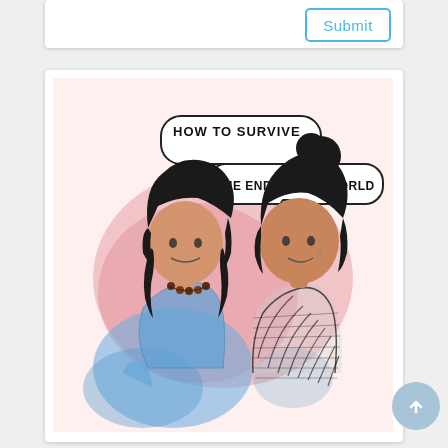[Figure (screenshot): A white card with a Submit button outlined in blue on the right side]
[Figure (illustration): Watercolor illustration of two people with speech bubbles reading 'HOW TO SURVIVE' and 'THE END OF THE WORLD'. Two figures with dark curly hair face each other; the left person wears a blue top with a beaded necklace, the right person wears a dark top. Background has pink watercolor wash.]